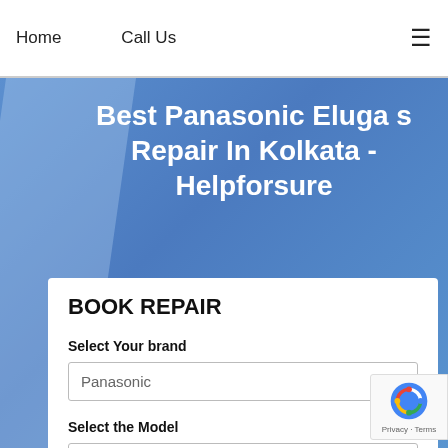Home   Call Us   ≡
Best Panasonic Eluga s Repair In Kolkata - Helpforsure
BOOK REPAIR
Select Your brand
Panasonic
Select the Model